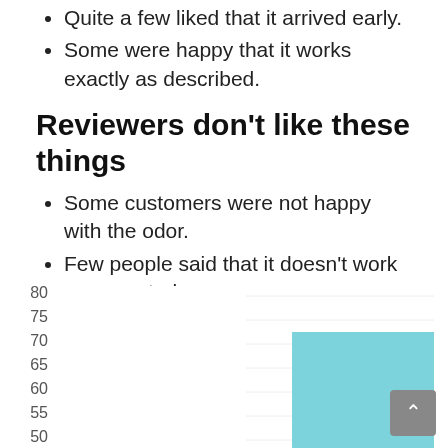Quite a few liked that it arrived early.
Some were happy that it works exactly as described.
Reviewers don't like these things
Some customers were not happy with the odor.
Few people said that it doesn't work as expected.
[Figure (bar-chart): Partial bar chart visible at bottom of page showing y-axis values 50-80 with a teal/light-blue bar visible on the right side reaching approximately 71]